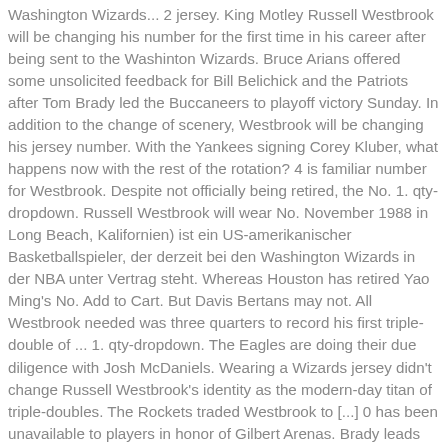Washington Wizards... 2 jersey. King Motley Russell Westbrook will be changing his number for the first time in his career after being sent to the Washinton Wizards. Bruce Arians offered some unsolicited feedback for Bill Belichick and the Patriots after Tom Brady led the Buccaneers to playoff victory Sunday. In addition to the change of scenery, Westbrook will be changing his jersey number. With the Yankees signing Corey Kluber, what happens now with the rest of the rotation? 4 is familiar number for Westbrook. Despite not officially being retired, the No. 1. qty-dropdown. Russell Westbrook will wear No. November 1988 in Long Beach, Kalifornien) ist ein US-amerikanischer Basketballspieler, der derzeit bei den Washington Wizards in der NBA unter Vertrag steht. Whereas Houston has retired Yao Ming's No. Add to Cart. But Davis Bertans may not. All Westbrook needed was three quarters to record his first triple-double of ... 1. qty-dropdown. The Eagles are doing their due diligence with Josh McDaniels. Wearing a Wizards jersey didn't change Russell Westbrook's identity as the modern-day titan of triple-doubles. The Rockets traded Westbrook to [...] 0 has been unavailable to players in honor of Gilbert Arenas. Brady leads Bucs to NFL title game; will Brees retire after 3-INT effort in loss? } 4 with the Washington Wizards. As the tweet compares the practically identical contracts for Wall and Westbrook, this also fails to consider the jersey numbers. King